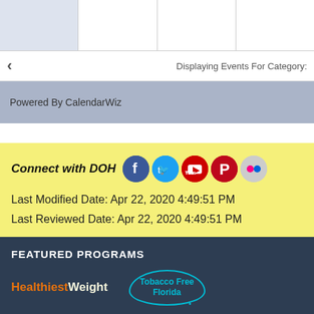[Figure (other): Calendar grid top row with one shaded cell and three empty cells]
< Displaying Events For Category:
Powered By CalendarWiz
Connect with DOH
[Figure (other): Social media icons: Facebook, Twitter, YouTube, Pinterest, Flickr]
Last Modified Date: Apr 22, 2020 4:49:51 PM
Last Reviewed Date: Apr 22, 2020 4:49:51 PM
FEATURED PROGRAMS
[Figure (logo): HealthiestWeight logo in orange and cream text]
[Figure (logo): Tobacco Free Florida cloud logo in cyan]